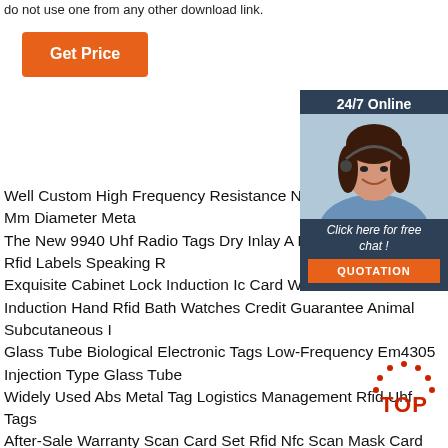do not use one from any other download link.
[Figure (other): Orange 'Get Price' button]
[Figure (other): 24/7 Online chat widget with customer service agent photo, 'Click here for free chat!' text, and orange QUOTATION button]
Well Custom High Frequency Resistance Ntag 213 Nfc Chip 26 Mm Diameter Meta
The New 9940 Uhf Radio Tags Dry Inlay A Management Uhf Rfid Labels Speaking R
Exquisite Cabinet Lock Induction Ic Card Watches Store Induction Hand Rfid Bath Credit Guarantee Animal Subcutaneous I
Glass Tube Biological Electronic Tags Low-Frequency Em4305 Injection Type Glass Tube
Widely Used Abs Metal Tag Logistics Management Rfid Uhf Tags
After-Sale Warranty Scan Card Set Rfid Nfc Scan Mask Card Sleeve Nfc Shielding Card Sets
[Figure (other): TOP red badge/logo in bottom right area]